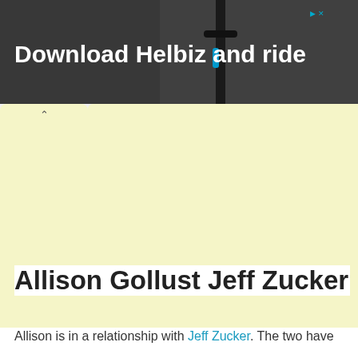[Figure (screenshot): Advertisement banner for Helbiz app showing a scooter handlebar in the background with text 'Download Helbiz and ride']
[Figure (screenshot): Light yellow browser tab/content area with a collapse arrow tab indicator]
Allison Gollust Jeff Zucker
Allison is in a relationship with Jeff Zucker. The two have